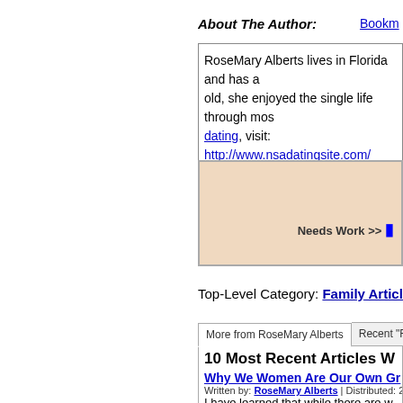About The Author:
RoseMary Alberts lives in Florida and has a [text continues off-page]... old, she enjoyed the single life through most... dating, visit: http://www.nsadatingsite.com/
[Figure (other): Rating widget box with peach/salmon background, showing 'Needs Work >>' label with blue arrow button]
Top-Level Category: Family Articles || Rela...
More from RoseMary Alberts | Recent "F...
10 Most Recent Articles W
Why We Women Are Our Own Gr
Written by: RoseMary Alberts | Distributed: 2013-11-06
I have learned that while there are w... who seek only attention, gifts, dinne...